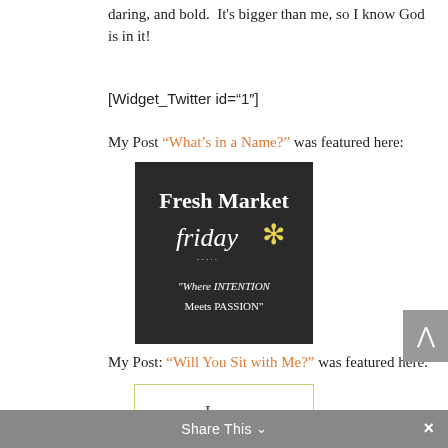daring, and bold.  It's bigger than me, so I know God is in it!
[Widget_Twitter id="1"]
My Post “What’s in a Name?” was featured here:
[Figure (illustration): Fresh Market Friday logo on dark chalkboard background with yellow flower, text reads 'Fresh Market Friday' and '"Where INTENTION Meets PASSION"']
My Post: “Will You Sit with Me?” was featured here:
[Figure (illustration): I was featured! badge for Imparting Grace blog, with light green cloud shape and cursive 'grace' text]
Share This ✕